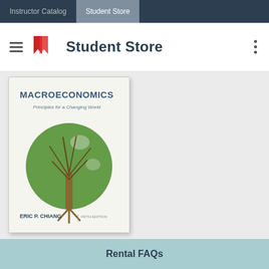Instructor Catalog | Student Store
Student Store
[Figure (photo): Book cover of Macroeconomics: Principles for a Changing World by Eric P. Chiang, Fifth Edition. Shows a globe made of green leaves on a tree against a white background.]
Rental FAQs